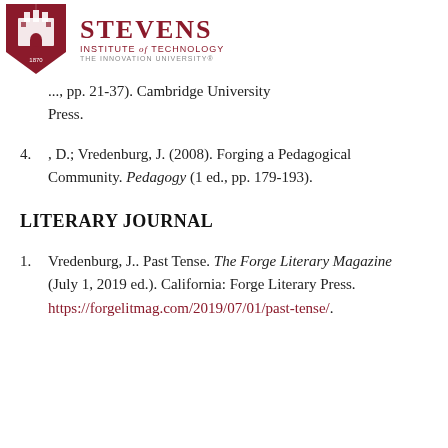Stevens Institute of Technology
..., pp. 21-37). Cambridge University Press.
4. , D.; Vredenburg, J. (2008). Forging a Pedagogical Community. Pedagogy (1 ed., pp. 179-193).
LITERARY JOURNAL
1. Vredenburg, J.. Past Tense. The Forge Literary Magazine (July 1, 2019 ed.). California: Forge Literary Press. https://forgelitmag.com/2019/07/01/past-tense/.